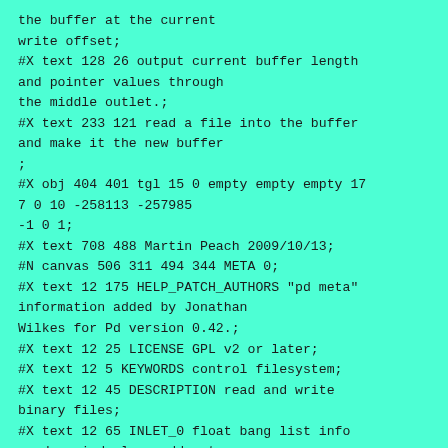the buffer at the current
write offset;
#X text 128 26 output current buffer length
and pointer values through
the middle outlet.;
#X text 233 121 read a file into the buffer
and make it the new buffer
;
#X obj 404 401 tgl 15 0 empty empty empty 17
7 0 10 -258113 -257985
-1 0 1;
#X text 708 488 Martin Peach 2009/10/13;
#N canvas 506 311 494 344 META 0;
#X text 12 175 HELP_PATCH_AUTHORS "pd meta"
information added by Jonathan
Wilkes for Pd version 0.42.;
#X text 12 25 LICENSE GPL v2 or later;
#X text 12 5 KEYWORDS control filesystem;
#X text 12 45 DESCRIPTION read and write
binary files;
#X text 12 65 INLET_0 float bang list info
read rewind clear add set